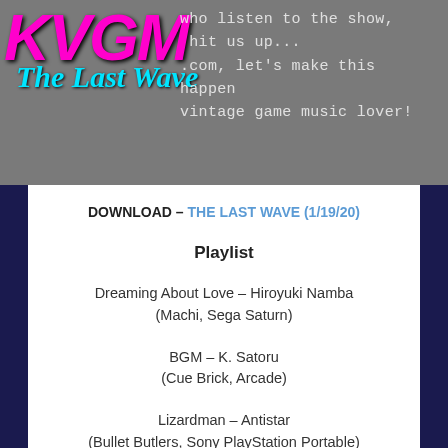[Figure (logo): KVGM The Last Wave logo — KVGM in large neon magenta bold italic text with 'The Last Wave' in cyan italic script below]
who listen to the show, hit us up...
.com, let's make this happen
vintage game music lover!
DOWNLOAD – THE LAST WAVE (1/19/20)
Playlist
Dreaming About Love – Hiroyuki Namba
(Machi, Sega Saturn)
BGM – K. Satoru
(Cue Brick, Arcade)
Lizardman – Antistar
(Bullet Butlers, Sony PlayStation Portable)